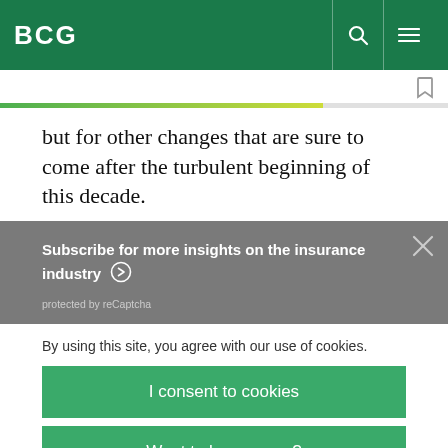BCG
but for other changes that are sure to come after the turbulent beginning of this decade.
Subscribe for more insights on the insurance industry
protected by reCaptcha
By using this site, you agree with our use of cookies.
I consent to cookies
Want to know more?
Read our Cookie Policy